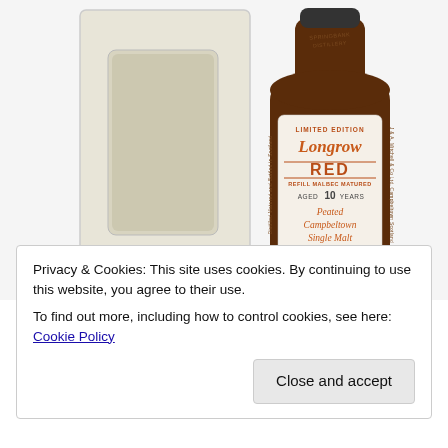[Figure (photo): Photo of a Longrow Red Limited Edition 10 Year Old Peated Campbeltown Single Malt Scotch Whisky bottle (Refill Malbec Matured, 70cl, 52.5%vol) next to its white presentation box, on a white background.]
Privacy & Cookies: This site uses cookies. By continuing to use this website, you agree to their use.
To find out more, including how to control cookies, see here: Cookie Policy
Close and accept